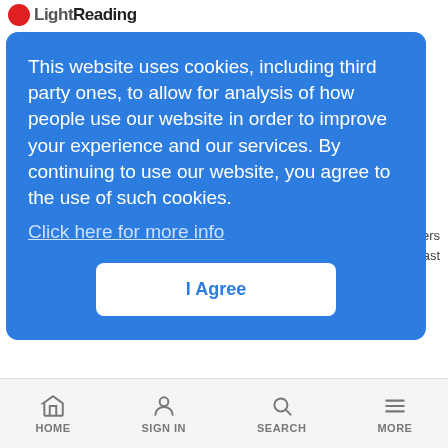Light Reading
This website uses cookies, including third party ones, to allow for analysis of how people use our website in order to improve your experience and our services. By continuing to use our website, you agree to the use of such cookies. Click here for more info
I Agree
US Spying Fuels Demand for DT's Cloud Biz
News Analysis | 1/20/2016
Deutsche Telekom says demand for its data center offerings is soaring amid concern about the security of data stored with US technology players.
HOME  Sign In  SEARCH  MORE